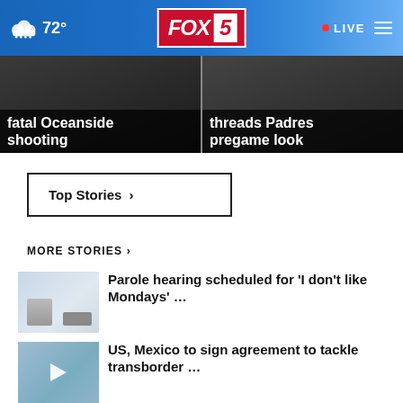72° FOX 5 LIVE
fatal Oceanside shooting
threads Padres pregame look
Top Stories ›
MORE STORIES ›
Parole hearing scheduled for 'I don't like Mondays' …
US, Mexico to sign agreement to tackle transborder …
North County house blaze kills couple